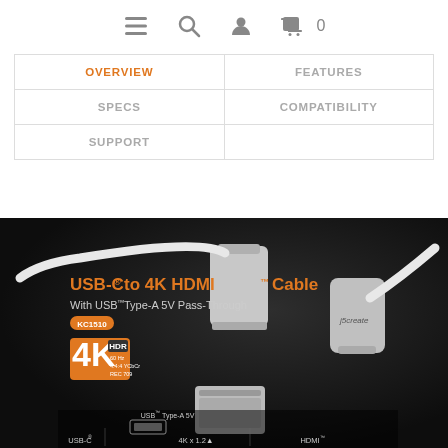Navigation icons: menu, search, account, cart (0)
| OVERVIEW | FEATURES |
| SPECS | COMPATIBILITY |
| SUPPORT |  |
[Figure (photo): Product photo of USB-C to 4K HDMI Cable with USB Type-A 5V Pass-Through by j5create (model KC1510). Shows two silver cable connectors on dark background with 4K HDR badge. Text overlay: 'USB-C to 4K HDMI Cable, With USB Type-A 5V Pass-Through, KC1510, 4K HDR'. Bottom shows port diagram labels: USB Type-A 5V, USB-C, 4K x 2x, HDMI.]